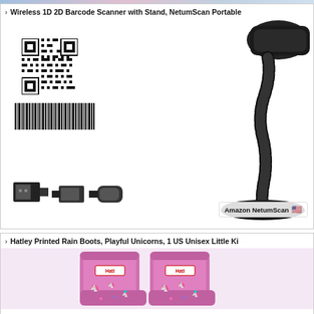[Figure (photo): Top sliver of a product image, partially cut off at the top of the page — appears to be a colorful product photo.]
> Wireless 1D 2D Barcode Scanner with Stand, NetumScan Portable
[Figure (photo): Product photo of a NetumScan wireless 1D 2D barcode scanner with flexible gooseneck stand. Left side shows a QR code and a linear barcode. Bottom shows USB connectors. Right side shows the black gooseneck stand with scanner head. Brand badge reads 'Amazon NetumScan' with US flag.]
> Hatley Printed Rain Boots, Playful Unicorns, 1 US Unisex Little Ki
[Figure (photo): Product photo of Hatley Printed Rain Boots in pink with playful unicorn pattern. Two boots shown side by side with 'Hatley' branding visible on the boots.]